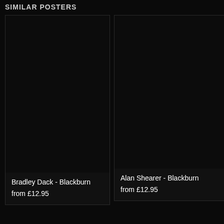SIMILAR POSTERS
[Figure (photo): Dark/black product image for Bradley Dack - Blackburn poster]
Bradley Dack - Blackburn
from £12.95
[Figure (photo): Dark/black product image for Alan Shearer - Blackburn poster]
Alan Shearer - Blackburn
from £12.95